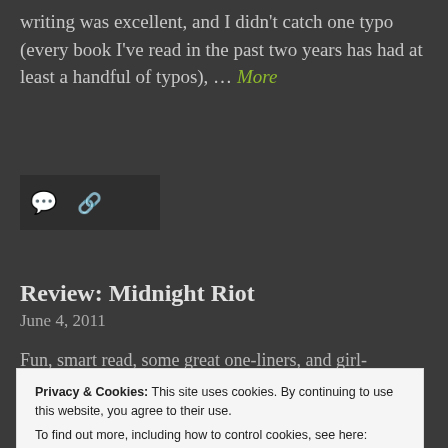writing was excellent, and I didn't catch one typo (every book I've read in the past two years has had at least a handful of typos), … More
[Figure (other): Dark icon bar with comment bubble icon and link icon on dark background]
Review: Midnight Riot
June 4, 2011
Fun, smart read, some great one-liners, and girl-
Privacy & Cookies: This site uses cookies. By continuing to use this website, you agree to their use.
To find out more, including how to control cookies, see here: Cookie Policy
Close and accept
love? Midnight Riot by Ben … More